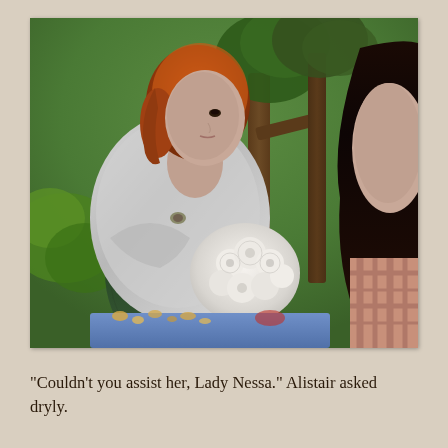[Figure (screenshot): A screenshot from The Sims video game showing two female characters facing each other outdoors. The left character has short red/auburn hair and wears a grey wrap over a green patterned dress. She holds or stands near a bouquet of white roses. The right character has long dark hair and wears a pink/peach plaid top. In the background are trees and green grass.]
“Couldn’t you assist her, Lady Nessa.” Alistair asked dryly.